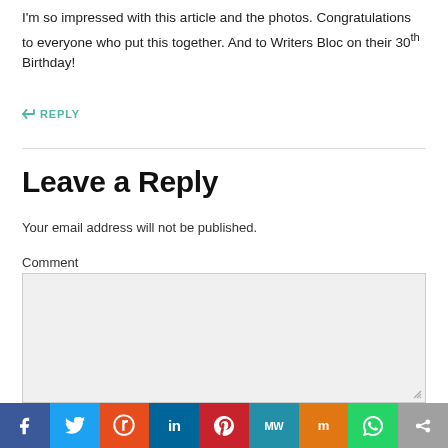I'm so impressed with this article and the photos. Congratulations to everyone who put this together. And to Writers Bloc on their 30th Birthday!
↩ REPLY
Leave a Reply
Your email address will not be published.
Comment
Name *